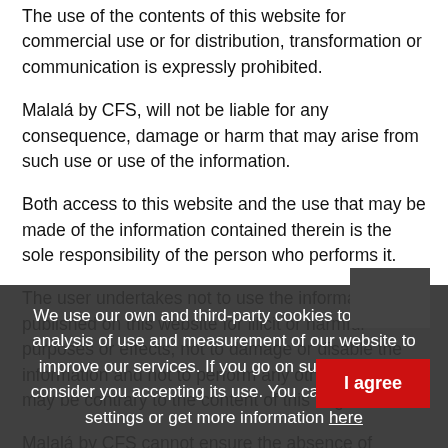The use of the contents of this website for commercial use or for distribution, transformation or communication is expressly prohibited.
Malalá by CFS, will not be liable for any consequence, damage or harm that may arise from such use or use of the information.
Both access to this website and the use that may be made of the information contained therein is the sole responsibility of the person who performs it.
The user undertakes not to use the information published on this website for illicit or harmful purposes or effects, not to damage or disable the information and not to perform any other action that may be contrary to the content of this Legal Notice.
Malalá by CFS cannot ensure the absence of interruptions or errors in accessing this website, although it will use its best efforts to avoid them.
LINKS
The links on our web page may lead to other sites that are accessible to users. These pages are not operated or controlled by Malalá by CFS; therefore, it is not responsible for the contents of those Web sites nor are they covered by
We use our own and third-party cookies to perform analysis of use and measurement of our website to improve our services. If you go on surfing, we will consider you accepting its use. You can change the settings or get more information here